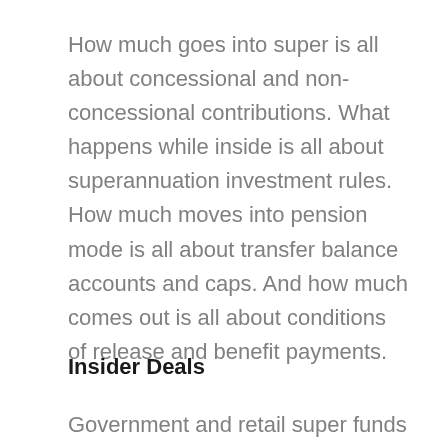How much goes into super is all about concessional and non-concessional contributions. What happens while inside is all about superannuation investment rules. How much moves into pension mode is all about transfer balance accounts and caps. And how much comes out is all about conditions of release and benefit payments.
Insider Deals
Government and retail super funds